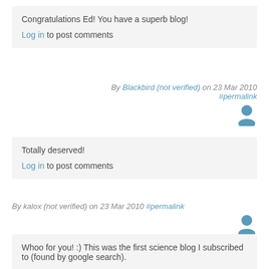Congratulations Ed! You have a superb blog!
Log in to post comments
By Blackbird (not verified) on 23 Mar 2010 #permalink
Totally deserved!
Log in to post comments
By kalox (not verified) on 23 Mar 2010 #permalink
Whoo for you! :) This was the first science blog I subscribed to (found by google search).